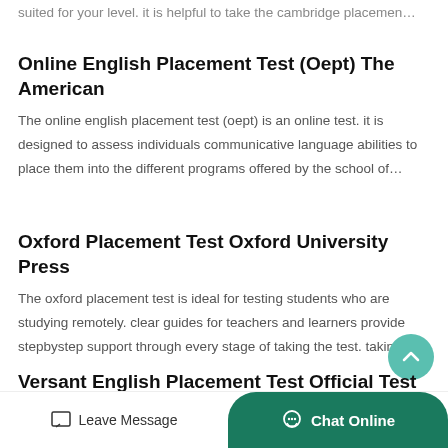suited for your level. it is helpful to take the cambridge placemen…
Online English Placement Test (Oept) The American
The online english placement test (oept) is an online test. it is designed to assess individuals communicative language abilities to place them into the different programs offered by the school of…
Oxford Placement Test Oxford University Press
The oxford placement test is ideal for testing students who are studying remotely. clear guides for teachers and learners provide stepbystep support through every stage of taking the test. taking t…
Versant English Placement Test Official Test Guide
The versant english placement t…
Leave Message   Chat Online